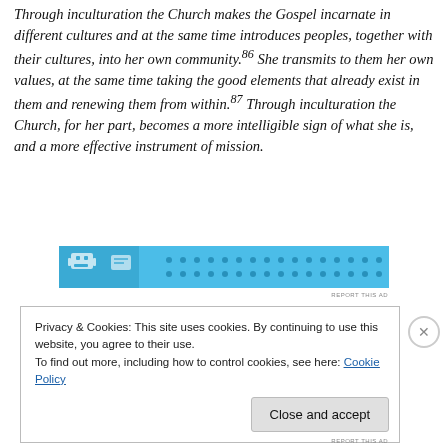Through inculturation the Church makes the Gospel incarnate in different cultures and at the same time introduces peoples, together with their cultures, into her own community.86 She transmits to them her own values, at the same time taking the good elements that already exist in them and renewing them from within.87 Through inculturation the Church, for her part, becomes a more intelligible sign of what she is, and a more effective instrument of mission.
[Figure (other): Advertisement banner with light blue background, robot/character icon on left, dots pattern on right]
REPORT THIS AD
Privacy & Cookies: This site uses cookies. By continuing to use this website, you agree to their use.
To find out more, including how to control cookies, see here: Cookie Policy
Close and accept
REPORT THIS AD